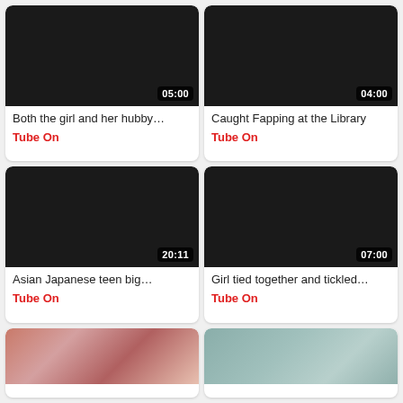[Figure (screenshot): Video thumbnail (black/dark) with duration 05:00, title: Both the girl and her hubby..., source: Tube On]
[Figure (screenshot): Video thumbnail (black/dark) with duration 04:00, title: Caught Fapping at the Library, source: Tube On]
[Figure (screenshot): Video thumbnail (black/dark) with duration 20:11, title: Asian Japanese teen big..., source: Tube On]
[Figure (screenshot): Video thumbnail (black/dark) with duration 07:00, title: Girl tied together and tickled..., source: Tube On]
[Figure (screenshot): Video thumbnail (partial, bottom row left) showing two people]
[Figure (screenshot): Video thumbnail (partial, bottom row right) showing person in bathroom-like setting]